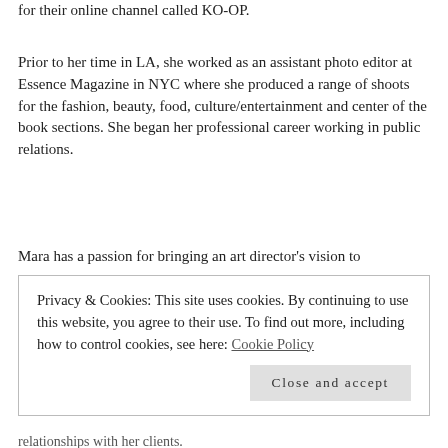for their online channel called KO-OP.
Prior to her time in LA, she worked as an assistant photo editor at Essence Magazine in NYC where she produced a range of shoots for the fashion, beauty, food, culture/entertainment and center of the book sections. She began her professional career working in public relations.
Mara has a passion for bringing an art director's vision to
Privacy & Cookies: This site uses cookies. By continuing to use this website, you agree to their use. To find out more, including how to control cookies, see here: Cookie Policy
Close and accept
relationships with her clients.